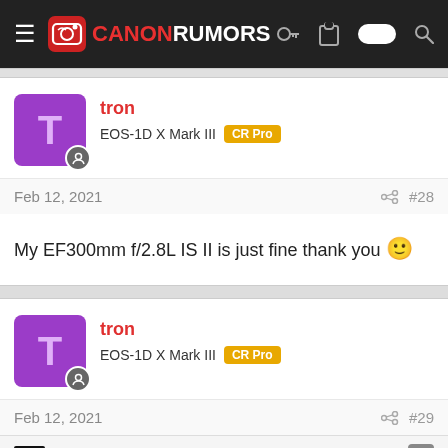CANON RUMORS
tron
EOS-1D X Mark III  CR Pro
Feb 12, 2021  #28
My EF300mm f/2.8L IS II is just fine thank you 🙂
tron
EOS-1D X Mark III  CR Pro
Feb 12, 2021  #29